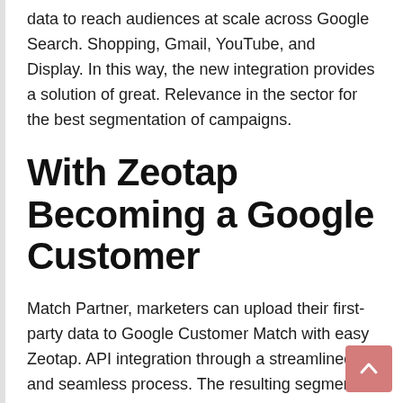data to reach audiences at scale across Google Search. Shopping, Gmail, YouTube, and Display. In this way, the new integration provides a solution of great. Relevance in the sector for the best segmentation of campaigns.
With Zeotap Becoming a Google Customer
Match Partner, marketers can upload their first-party data to Google Customer Match with easy Zeotap. API integration through a streamlined and seamless process. The resulting segments may be included or excluded from Google Ads campaigns. And used to tailor bid strategies